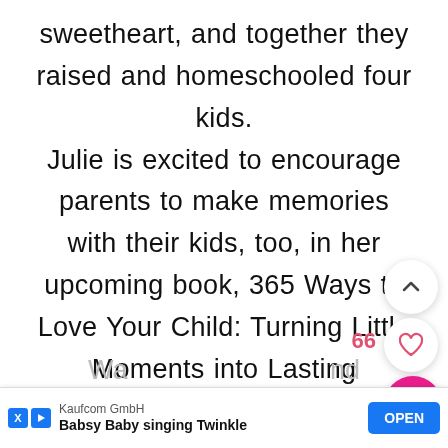sweetheart, and together they raised and homeschooled four kids. Julie is excited to encourage parents to make memories with their kids, too, in her upcoming book, 365 Ways to Love Your Child: Turning Little Moments into Lasting Memories, published by Revel. Her book releases in October but is available for preorder now. Julie would love to connect with you on her Facebook Group of the same name, 365
[Figure (screenshot): Mobile app UI overlay showing scroll-up chevron button, like count 66, heart button, and pink search/magnify button on the right side of the screen]
[Figure (screenshot): Ad banner at bottom: Kaufcom GmbH - Babsy Baby singing Twinkle, with blue OPEN button, X and play icons]